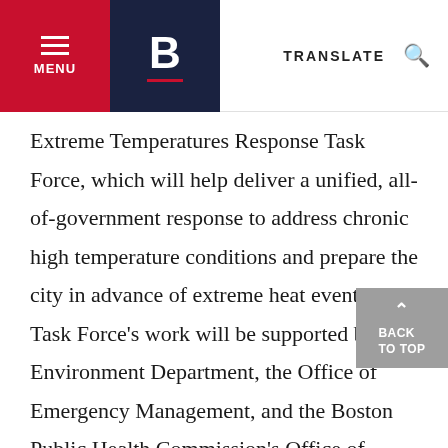MENU | B | TRANSLATE
Extreme Temperatures Response Task Force, which will help deliver a unified, all-of-government response to address chronic high temperature conditions and prepare the city in advance of extreme heat events. The Task Force's work will be supported by the Environment Department, the Office of Emergency Management, and the Boston Public Health Commission's Office of Public